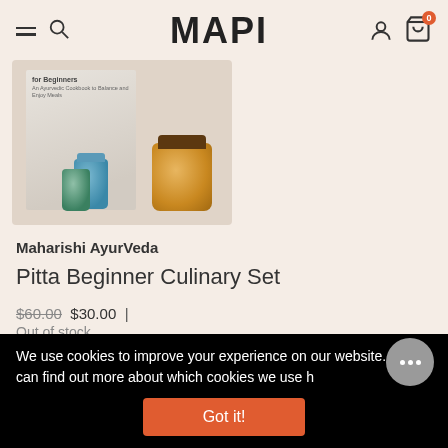MAPI
[Figure (photo): Product photo showing Pitta Beginner Culinary Set with a book titled 'for Beginners' and several jars/bottles on a light background]
Maharishi AyurVeda
Pitta Beginner Culinary Set
$60.00 $30.00 | Out of stock
We use cookies to improve your experience on our website. You can find out more about which cookies we use h
Got it!